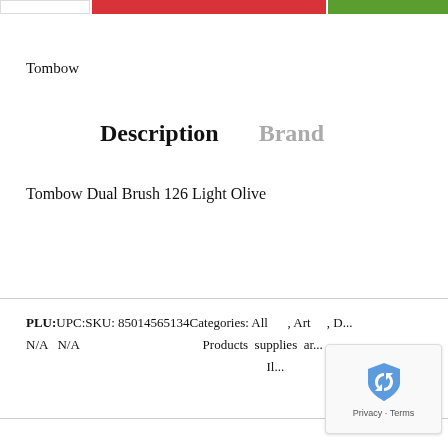[Figure (other): Top navigation bar with white box on left, red bar in center, green bar on right]
Tombow
Description   Brand
Tombow Dual Brush 126 Light Olive
PLU:UPC:SKU: 85014565134Categories: All , Art , D... N/A N/A Products supplies ar... Il...
[Figure (other): reCAPTCHA widget with shield/arrow logo and Privacy - Terms footer]